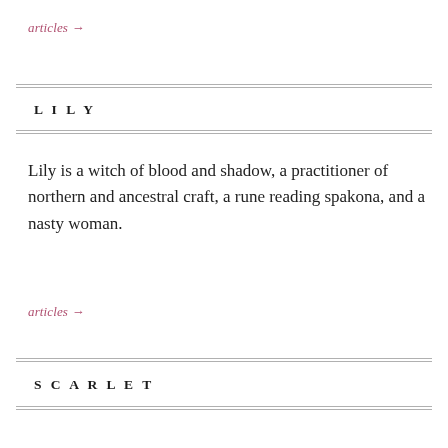articles →
LILY
Lily is a witch of blood and shadow, a practitioner of northern and ancestral craft, a rune reading spakona, and a nasty woman.
articles →
SCARLET